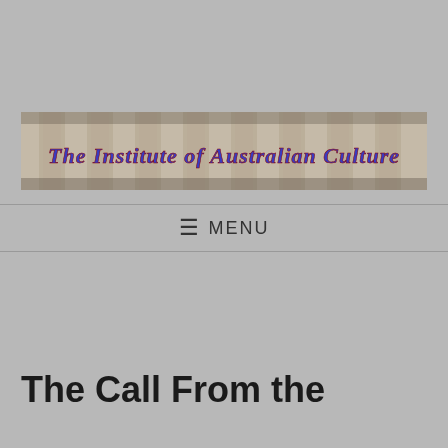[Figure (logo): The Institute of Australian Culture banner logo with classical columns background and gothic-style text]
☰ MENU
The Call From the